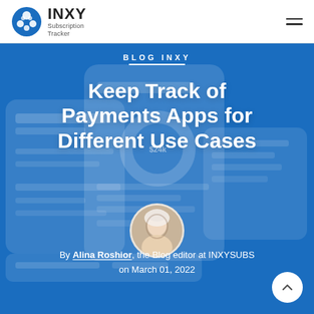INXY Subscription Tracker
Blog INXY
Keep Track of Payments Apps for Different Use Cases
[Figure (illustration): App screenshot background showing payment methods interface with $24k display and bank transfer details]
[Figure (photo): Circular author photo of Alina Roshior wearing a white hoodie]
By Alina Roshior, the Blog editor at INXYSUBS on March 01, 2022